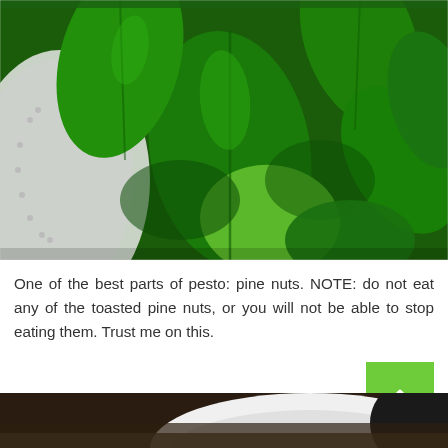[Figure (photo): Close-up photo of fresh green basil leaves in a white colander/salad spinner bowl]
One of the best parts of pesto: pine nuts. NOTE: do not eat any of the toasted pine nuts, or you will not be able to stop eating them. Trust me on this.
[Figure (photo): Partial photo of a white bowl on a dark surface, bottom of the page]